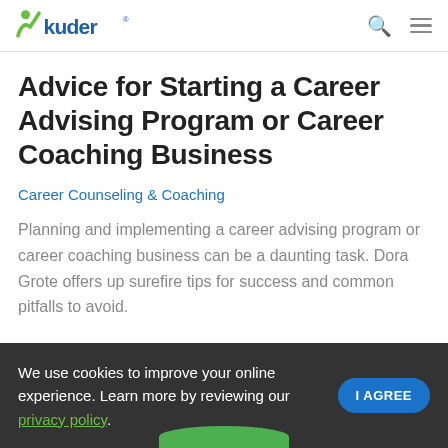Kuder logo, search icon, menu icon
Advice for Starting a Career Advising Program or Career Coaching Business
Career Counseling & Coaching
Planning and implementing a career advising program or career coaching business can be a daunting task. Dora Grote offers up surefire tips for success and common pitfalls to avoid.
We use cookies to improve your online experience. Learn more by reviewing our privacy policy.